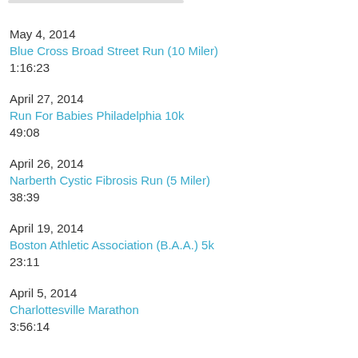May 4, 2014
Blue Cross Broad Street Run (10 Miler)
1:16:23
April 27, 2014
Run For Babies Philadelphia 10k
49:08
April 26, 2014
Narberth Cystic Fibrosis Run (5 Miler)
38:39
April 19, 2014
Boston Athletic Association (B.A.A.) 5k
23:11
April 5, 2014
Charlottesville Marathon
3:56:14